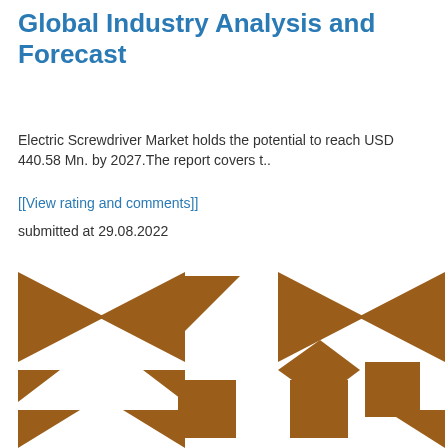Global Industry Analysis and Forecast
Electric Screwdriver Market holds the potential to reach USD 440.58 Mn. by 2027.The report covers t..
[[View rating and comments]]
submitted at 29.08.2022
[Figure (logo): Decorative pattern of brown geometric shapes (triangles and squares arranged in tangram-like configurations) repeated three times across the bottom portion of the page, partially cut off.]